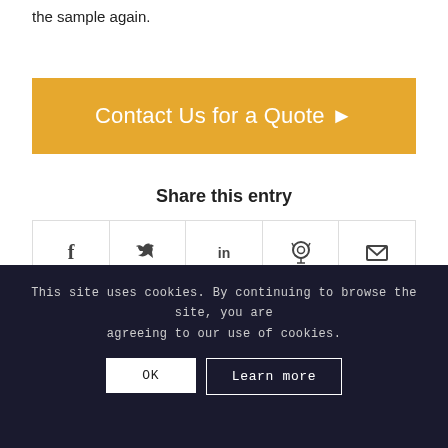the sample again.
Contact Us for a Quote ▶
Share this entry
[Figure (other): Social sharing icons row: Facebook (f), Twitter (bird), LinkedIn (in), Reddit (alien), Email (envelope)]
This site uses cookies. By continuing to browse the site, you are agreeing to our use of cookies.
OK    Learn more